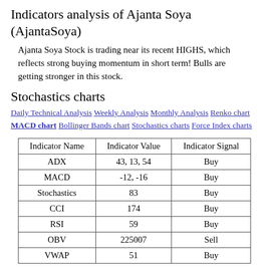Indicators analysis of Ajanta Soya (AjantaSoya)
Ajanta Soya Stock is trading near its recent HIGHS, which reflects strong buying momentum in short term! Bulls are getting stronger in this stock.
Stochastics charts
Daily Technical Analysis Weekly Analysis Monthly Analysis Renko chart MACD chart Bollinger Bands chart Stochastics charts Force Index charts
| Indicator Name | Indicator Value | Indicator Signal |
| --- | --- | --- |
| ADX | 43, 13, 54 | Buy |
| MACD | -12, -16 | Buy |
| Stochastics | 83 | Buy |
| CCI | 174 | Buy |
| RSI | 59 | Buy |
| OBV | 225007 | Sell |
| VWAP | 51 | Buy |